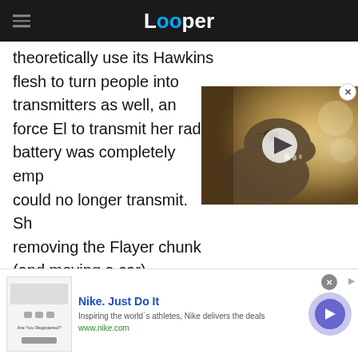Looper
theoretically use its Hawkins flesh to turn people into transmitters as well, and force El to transmit her radi... battery was completely emp... could no longer transmit. Sh... removing the Flayer chunk (and moving a car).
[Figure (photo): Video thumbnail of a dinosaur (appears to be a raptor or similar) with a play button overlay]
[Figure (infographic): Nike advertisement banner with Nike logo image, 'Nike. Just Do It' headline, description text and arrow button]